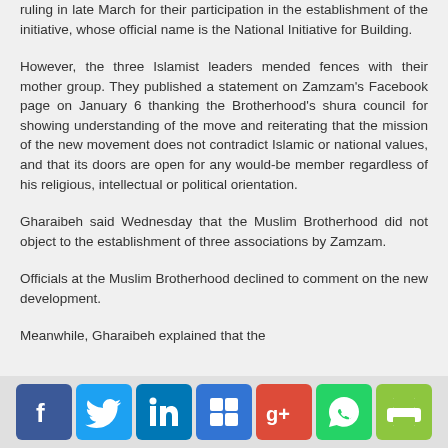ruling in late March for their participation in the establishment of the initiative, whose official name is the National Initiative for Building.
However, the three Islamist leaders mended fences with their mother group. They published a statement on Zamzam's Facebook page on January 6 thanking the Brotherhood's shura council for showing understanding of the move and reiterating that the mission of the new movement does not contradict Islamic or national values, and that its doors are open for any would-be member regardless of his religious, intellectual or political orientation.
Gharaibeh said Wednesday that the Muslim Brotherhood did not object to the establishment of three associations by Zamzam.
Officials at the Muslim Brotherhood declined to comment on the new development.
Meanwhile, Gharaibeh explained that the
[Figure (infographic): Social sharing bar with icons for Facebook, Twitter, LinkedIn, Delicious, Google+, WhatsApp, and Print]